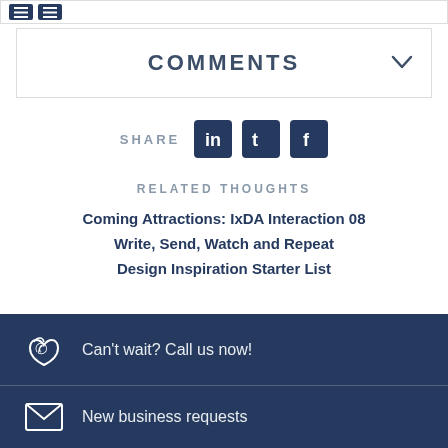[Figure (other): Social sharing icons (LinkedIn, Twitter) at top of page]
COMMENTS
[Figure (other): Share label with LinkedIn, Twitter, Facebook social media icons]
RELATED THOUGHTS
Coming Attractions: IxDA Interaction 08
Write, Send, Watch and Repeat
Design Inspiration Starter List
Can't wait? Call us now!
New business requests